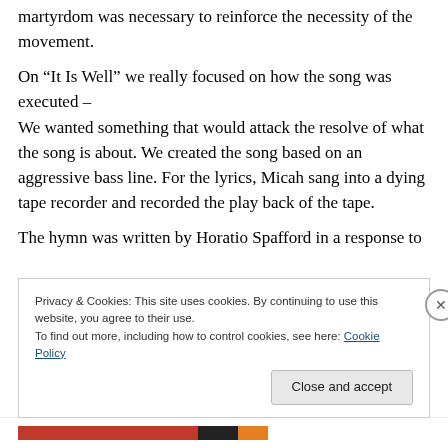martyrdom was necessary to reinforce the necessity of the movement.
On “It Is Well” we really focused on how the song was executed –
We wanted something that would attack the resolve of what the song is about. We created the song based on an aggressive bass line. For the lyrics, Micah sang into a dying tape recorder and recorded the play back of the tape.
The hymn was written by Horatio Spafford in a response to
Privacy & Cookies: This site uses cookies. By continuing to use this website, you agree to their use.
To find out more, including how to control cookies, see here: Cookie Policy
Close and accept